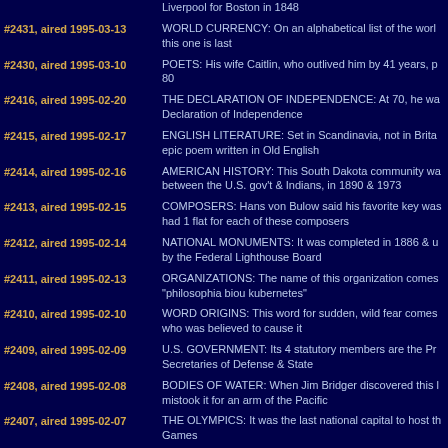#2431, aired 1995-03-13 | WORLD CURRENCY: On an alphabetical list of the world's currencies, this one is last
#2430, aired 1995-03-10 | POETS: His wife Caitlin, who outlived him by 41 years, passed away at 80
#2416, aired 1995-02-20 | THE DECLARATION OF INDEPENDENCE: At 70, he was the oldest signer of the Declaration of Independence
#2415, aired 1995-02-17 | ENGLISH LITERATURE: Set in Scandinavia, not in Britain, it's the only epic poem written in Old English
#2414, aired 1995-02-16 | AMERICAN HISTORY: This South Dakota community was the site of conflicts between the U.S. gov't & Indians, in 1890 & 1973
#2413, aired 1995-02-15 | COMPOSERS: Hans von Bulow said his favorite key was D-flat because it had 1 flat for each of these composers
#2412, aired 1995-02-14 | NATIONAL MONUMENTS: It was completed in 1886 & until 1939 was run by the Federal Lighthouse Board
#2411, aired 1995-02-13 | ORGANIZATIONS: The name of this organization comes from the Greek "philosophia biou kubernetes"
#2410, aired 1995-02-10 | WORD ORIGINS: This word for sudden, wild fear comes from the god who was believed to cause it
#2409, aired 1995-02-09 | U.S. GOVERNMENT: Its 4 statutory members are the President & the Secretaries of Defense & State
#2408, aired 1995-02-08 | BODIES OF WATER: When Jim Bridger discovered this lake, he mistook it for an arm of the Pacific
#2407, aired 1995-02-07 | THE OLYMPICS: It was the last national capital to host the Olympic Games
#2406, aired 1995-02-06 | PHILANTHROPISTS: A college & an oceanographic institution honor this newspaper family
#2400, aired 1995-01-27 | FICTIONAL CHARACTERS: He said "When you have eliminated whatever remains, must be the truth"